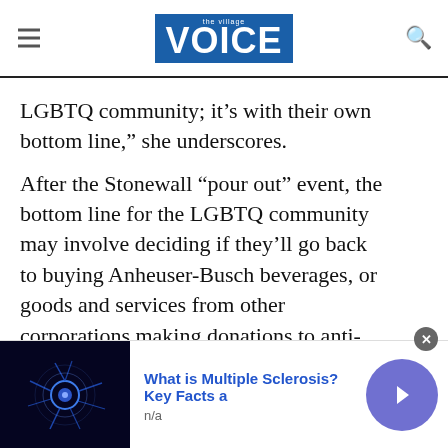the Village VOICE
LGBTQ community; it’s with their own bottom line,” she underscores.
After the Stonewall “pour out” event, the bottom line for the LGBTQ community may involve deciding if they’ll go back to buying Anheuser-Busch beverages, or goods and services from other corporations making donations to anti-queer politicians.
[Figure (photo): Advertisement banner showing a neural/brain cell image promoting 'What is Multiple Sclerosis? Key Facts a' with a navigation arrow button]